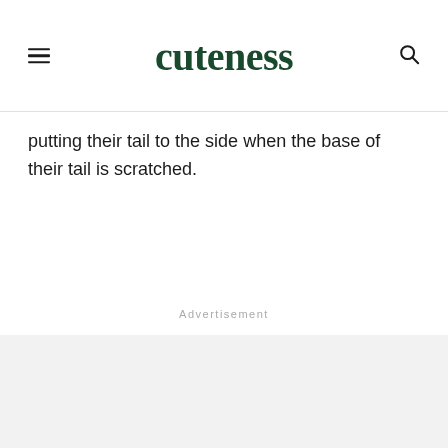cuteness
putting their tail to the side when the base of their tail is scratched.
Advertisement